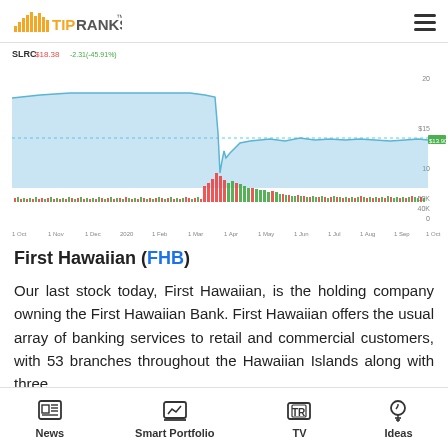TipRanks
[Figure (continuous-plot): SLRC stock price chart showing price history over approximately one year from Oct to Oct, with a significant drop around March/April and partial recovery. Volume bars shown at bottom in red and green.]
First Hawaiian (FHB)
Our last stock today, First Hawaiian, is the holding company owning the First Hawaiian Bank. First Hawaiian offers the usual array of banking services to retail and commercial customers, with 53 branches throughout the Hawaiian Islands along with three
News | Smart Portfolio | TV | Ideas